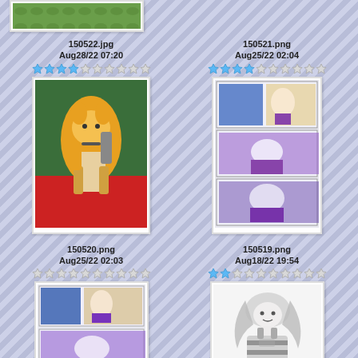[Figure (screenshot): Partial top image thumbnail (nature/outdoor scene), cropped at top]
150522.jpg
Aug28/22 07:20
[Figure (screenshot): Rating stars: 4 blue stars out of 10]
[Figure (illustration): Anthropomorphic fox character 3D render]
150521.png
Aug25/22 02:04
[Figure (screenshot): Rating stars: 4 blue stars out of 10]
[Figure (illustration): Comic strip panels, anime style artwork]
150520.png
Aug25/22 02:03
[Figure (screenshot): Rating stars: 0 blue stars out of 10]
[Figure (illustration): Comic strip panels, anime style artwork]
150519.png
Aug18/22 19:54
[Figure (screenshot): Rating stars: 2 blue stars out of 10]
[Figure (illustration): Sketch/drawing of a character with striped clothing]